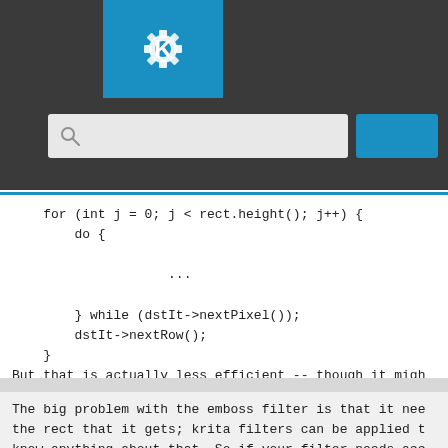[Figure (screenshot): KDE application header with blue KDE gear logo, dark background, search input field with magnifying glass icon, and a blue search button]
for (int j = 0; j < rect.height(); j++) {
        do {

                    ...

        } while (dstIt->nextPixel());
        dstIt->nextRow();
    }
But that is actually less efficient -- though it migh
more than one paint device at the same time.
The big problem with the emboss filter is that it nee
the rect that it gets; krita filters can be applied t
know anything about that. So if your filter needs acc
rect it is allowed to change, it has to ask for that